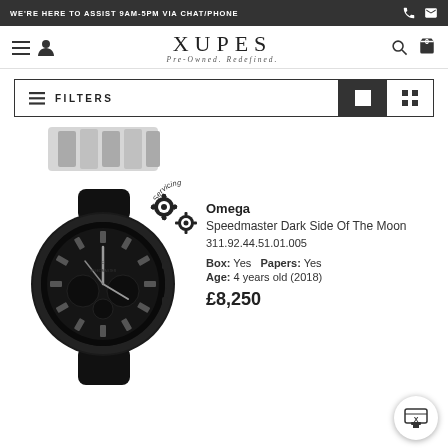WE'RE HERE TO ASSIST 9AM-5PM VIA CHAT/PHONE
XUPES — Pre-Owned. Redefined.
FILTERS
[Figure (photo): Partial view of a stainless steel watch bracelet/band]
[Figure (photo): Omega Speedmaster Dark Side of the Moon black ceramic watch with black dial, shown with In Servicing badge]
Omega
Speedmaster Dark Side Of The Moon
311.92.44.51.01.005
Box: Yes  Papers: Yes
Age: 4 years old (2018)
£8,250